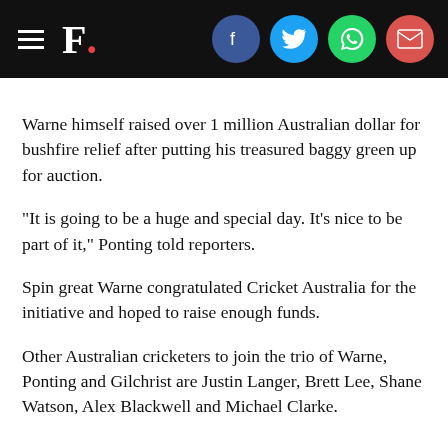F. [Firstpost logo with social share icons: Facebook, Twitter, WhatsApp, Email]
Warne himself raised over 1 million Australian dollar for bushfire relief after putting his treasured baggy green up for auction.
"It is going to be a huge and special day. It's nice to be part of it," Ponting told reporters.
Spin great Warne congratulated Cricket Australia for the initiative and hoped to raise enough funds.
Other Australian cricketers to join the trio of Warne, Ponting and Gilchrist are Justin Langer, Brett Lee, Shane Watson, Alex Blackwell and Michael Clarke.